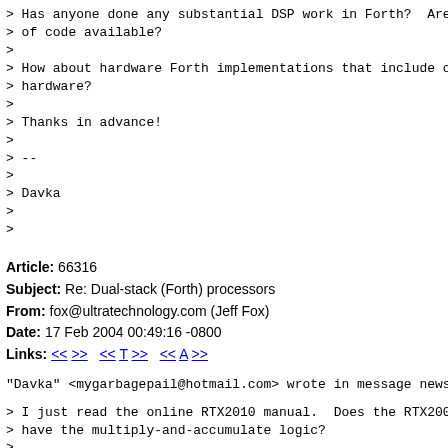> Has anyone done any substantial DSP work in Forth?  Are
> of code available?
>
> How about hardware Forth implementations that include c
> hardware?
>
> Thanks in advance!
>
> --
>
> Davka
>
>
Article: 66316
Subject: Re: Dual-stack (Forth) processors
From: fox@ultratechnology.com (Jeff Fox)
Date: 17 Feb 2004 00:49:16 -0800
Links: << >>   << T >>   << A >>
"Davka" <mygarbagepail@hotmail.com> wrote in message news
> I just read the online RTX2010 manual.  Does the RTX200
> have the multiply-and-accumulate logic?
>
> Do people buy these chips nowadays for DSP?